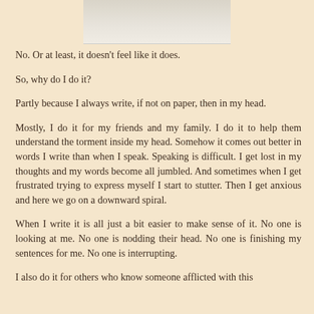[Figure (photo): Partial photo showing handwritten paper, visible at top of page]
No.  Or at least, it doesn't feel like it does.
So, why do I do it?
Partly because I always write, if not on paper, then in my head.
Mostly, I do it for my friends and my family.  I do it to help them understand the torment inside my head.  Somehow it comes out better in words I write than when I speak.  Speaking is difficult.  I get lost in my thoughts and my words become all jumbled.  And sometimes when I get frustrated trying to express myself I start to stutter.  Then I get anxious and here we go on a downward spiral.
When I write it is all just a bit easier to make sense of it.  No one is looking at me.  No one is nodding their head.  No one is finishing my sentences for me.  No one is interrupting.
I also do it for others who know someone afflicted with this